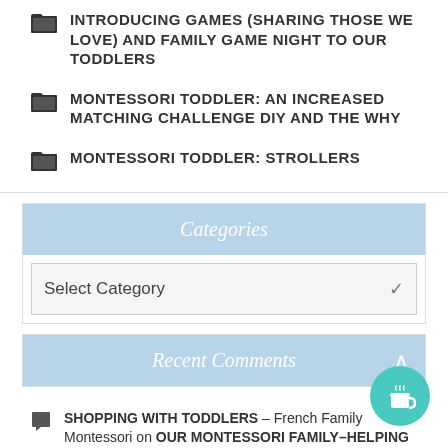INTRODUCING GAMES (SHARING THOSE WE LOVE) AND FAMILY GAME NIGHT TO OUR TODDLERS
MONTESSORI TODDLER: AN INCREASED MATCHING CHALLENGE DIY AND THE WHY
MONTESSORI TODDLER: STROLLERS
Categories
Select Category
Recent Comments
SHOPPING WITH TODDLERS – French Family Montessori on OUR MONTESSORI FAMILY–HELPING CHILDREN LEARN ABOUT FINANCES AND MONEY PART